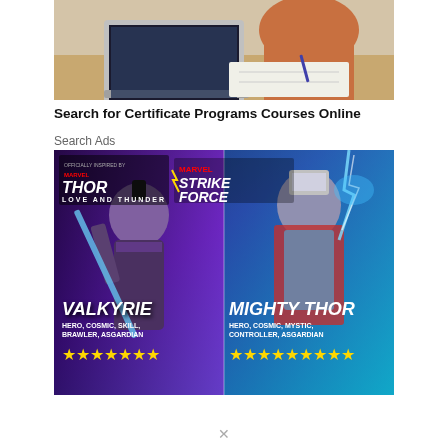[Figure (photo): Photo of a person sitting at a desk with a laptop, writing in a notebook]
Search for Certificate Programs Courses Online
Search Ads
[Figure (photo): Marvel Strike Force game advertisement featuring Valkyrie (HERO, COSMIC, SKILL, BRAWLER, ASGARDIAN) and Mighty Thor (HERO, COSMIC, MYSTIC, CONTROLLER, ASGARDIAN) characters with star ratings, Thor Love and Thunder movie branding]
M